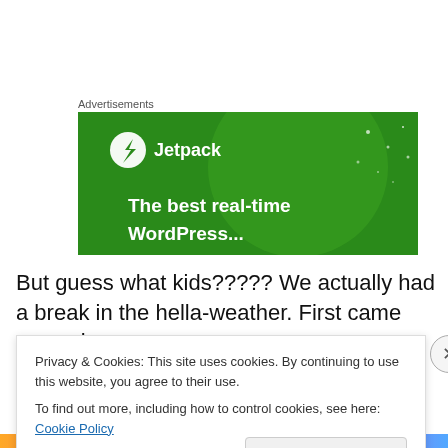Advertisements
[Figure (illustration): Jetpack advertisement banner with green background, Jetpack logo (lightning bolt in circle) and text 'The best real-time WordPress...']
But guess what kids????? We actually had a break in the hella-weather. First came rare rain…
Privacy & Cookies: This site uses cookies. By continuing to use this website, you agree to their use.
To find out more, including how to control cookies, see here: Cookie Policy